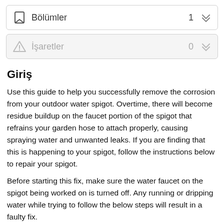Bölümler  1
İşaretler  0
Giriş
Use this guide to help you successfully remove the corrosion from your outdoor water spigot. Overtime, there will become residue buildup on the faucet portion of the spigot that refrains your garden hose to attach properly, causing spraying water and unwanted leaks. If you are finding that this is happening to your spigot, follow the instructions below to repair your spigot.
Before starting this fix, make sure the water faucet on the spigot being worked on is turned off. Any running or dripping water while trying to follow the below steps will result in a faulty fix.